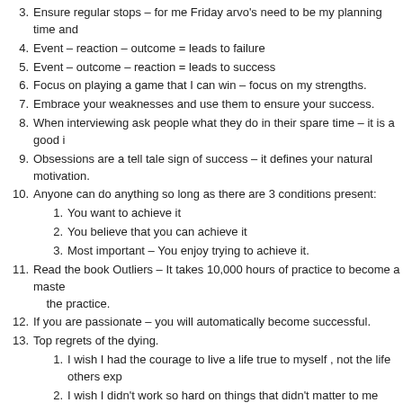3. Ensure regular stops – for me Friday arvo's need to be my planning time and
4. Event – reaction – outcome = leads to failure
5. Event – outcome – reaction = leads to success
6. Focus on playing a game that I can win – focus on my strengths.
7. Embrace your weaknesses and use them to ensure your success.
8. When interviewing ask people what they do in their spare time – it is a good i
9. Obsessions are a tell tale sign of success – it defines your natural motivation.
10. Anyone can do anything so long as there are 3 conditions present:
1. You want to achieve it
2. You believe that you can achieve it
3. Most important – You enjoy trying to achieve it.
11. Read the book Outliers – It takes 10,000 hours of practice to become a maste the practice.
12. If you are passionate – you will automatically become successful.
13. Top regrets of the dying.
1. I wish I had the courage to live a life true to myself , not the life others exp
2. I wish I didn't work so hard on things that didn't matter to me
14. The Book Human Motivation – everyone is driven by 3 things:
1. Achievement – the desire to compete against challenging goals
2. Affiliation – the desire to be liked / loved
3. Power – expressed either by the desire for influence and respect for your offer them influence and respect.